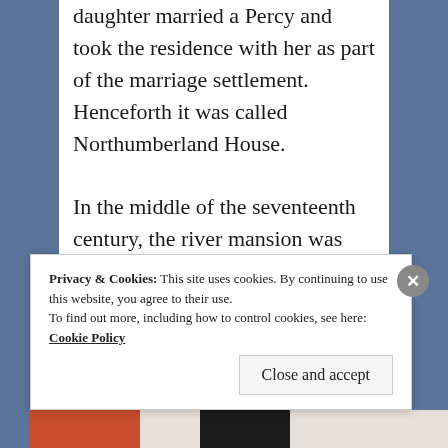daughter married a Percy and took the residence with her as part of the marriage settlement. Henceforth it was called Northumberland House. In the middle of the seventeenth century, the river mansion was given a fourth side along the river to complete the enclosure of its
Privacy & Cookies: This site uses cookies. By continuing to use this website, you agree to their use. To find out more, including how to control cookies, see here: Cookie Policy
Close and accept